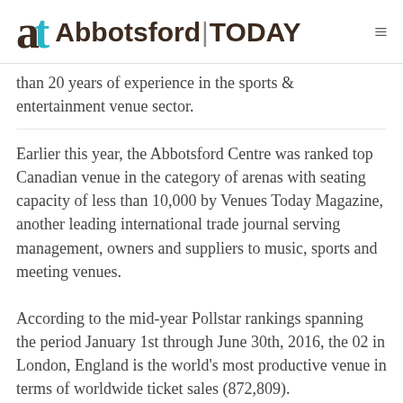[Figure (logo): Abbotsford TODAY logo with stylized 'at' letters in dark brown and cyan, followed by 'Abbotsford|TODAY' wordmark, and hamburger menu icon on the right]
than 20 years of experience in the sports & entertainment venue sector.
Earlier this year, the Abbotsford Centre was ranked top Canadian venue in the category of arenas with seating capacity of less than 10,000 by Venues Today Magazine, another leading international trade journal serving management, owners and suppliers to music, sports and meeting venues.
According to the mid-year Pollstar rankings spanning the period January 1st through June 30th, 2016, the 02 in London, England is the world's most productive venue in terms of worldwide ticket sales (872,809).